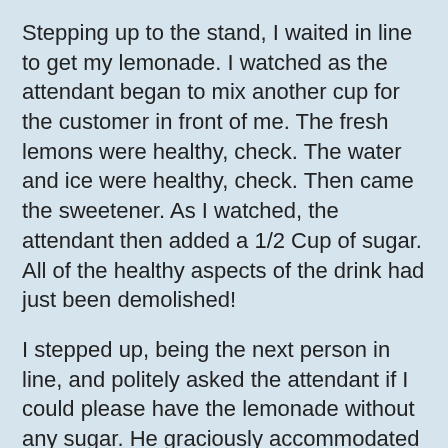Stepping up to the stand, I waited in line to get my lemonade. I watched as the attendant began to mix another cup for the customer in front of me. The fresh lemons were healthy, check. The water and ice were healthy, check. Then came the sweetener. As I watched, the attendant then added a 1/2 Cup of sugar. All of the healthy aspects of the drink had just been demolished!
I stepped up, being the next person in line, and politely asked the attendant if I could please have the lemonade without any sugar. He graciously accommodated me.
The entire scenario helped reaffirm the following points:
• Just because something seems to be